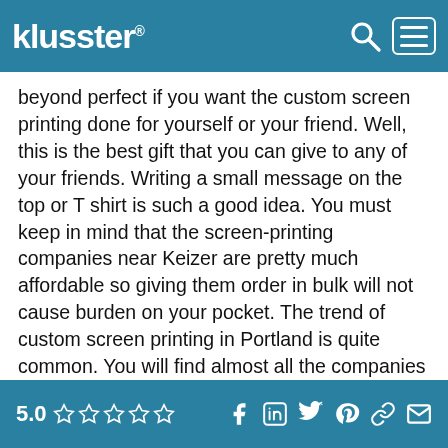klusster®
beyond perfect if you want the custom screen printing done for yourself or your friend. Well, this is the best gift that you can give to any of your friends. Writing a small message on the top or T shirt is such a good idea. You must keep in mind that the screen-printing companies near Keizer are pretty much affordable so giving them order in bulk will not cause burden on your pocket. The trend of custom screen printing in Portland is quite common. You will find almost all the companies offering good quality screen-printing services to the customers. You must check them out of you really want to get the perfectly printed message on the shirts.
5.0 ★★★★★ (social icons: Facebook, LinkedIn, Twitter, Pinterest, Link, Email)